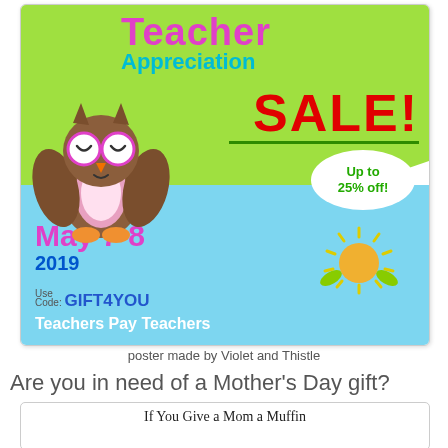[Figure (illustration): Teacher Appreciation SALE poster with owl illustration, green and blue background, text: Teacher Appreciation SALE! Up to 25% off! May 7-8 2019 Use Code: GIFT4YOU Teachers Pay Teachers]
poster made by Violet and Thistle
Are you in need of a Mother's Day gift?
[Figure (illustration): Book cover: If You Give a Mom a Muffin, with a muffin illustration]